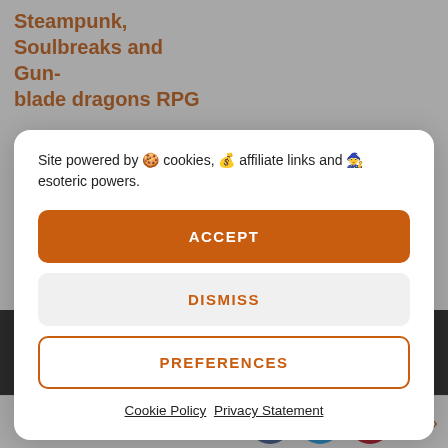Steampunk, Soulbreaks and Gunblade dragons RPG
Site powered by 🍪 cookies, 💰 affiliate links and 🧙 esoteric powers.
ACCEPT
DISMISS
PREFERENCES
Cookie Policy  Privacy Statement
Find out how.
Geek gift hunting? Pop over to the Geek Native shop!